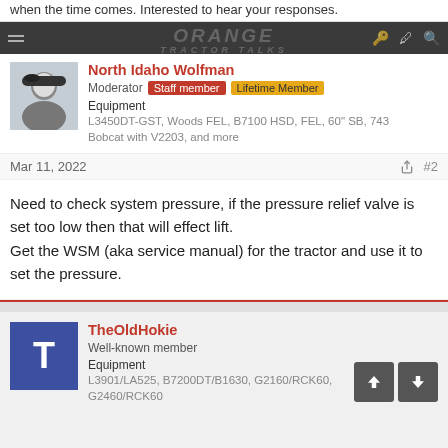when the time comes. Interested to hear your responses.
ORANGE TRACTOR TALKS
North Idaho Wolfman
Moderator | Staff member | Lifetime Member
Equipment
L3450DT-GST, Woods FEL, B7100 HSD, FEL, 60" SB, 743 Bobcat with V2203, and more
Mar 11, 2022  #2
Need to check system pressure, if the pressure relief valve is set too low then that will effect lift.
Get the WSM (aka service manual) for the tractor and use it to set the pressure.
TheOldHokie
Well-known member
Equipment
L3901/LA525, B7200DT/B1630, G2160/RCK60, G2460/RCK60